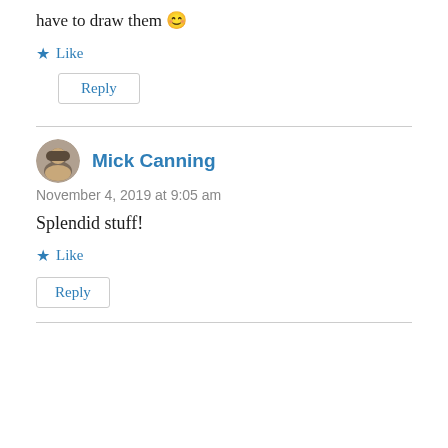have to draw them 😊
★ Like
Reply
Mick Canning
November 4, 2019 at 9:05 am
Splendid stuff!
★ Like
Reply